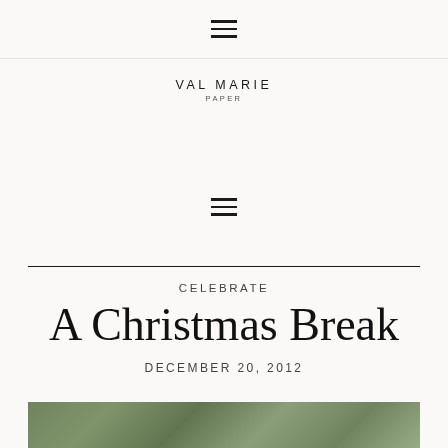≡ (menu/hamburger icon)
[Figure (logo): Val Marie Paper logo with brand name in spaced caps and 'PAPER' subtitle below]
[Figure (other): Hamburger/menu icon (three horizontal lines)]
CELEBRATE
A Christmas Break
DECEMBER 20, 2012
[Figure (photo): Partial photo of Christmas/winter greenery scene at bottom of page]